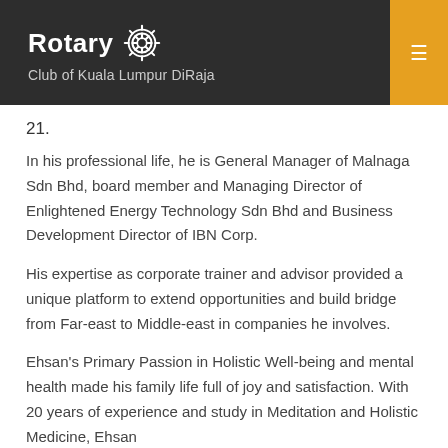Rotary Club of Kuala Lumpur DiRaja
21.
In his professional life, he is General Manager of Malnaga Sdn Bhd, board member and Managing Director of Enlightened Energy Technology Sdn Bhd and Business Development Director of IBN Corp.
His expertise as corporate trainer and advisor provided a unique platform to extend opportunities and build bridge from Far-east to Middle-east in companies he involves.
Ehsan's Primary Passion in Holistic Well-being and mental health made his family life full of joy and satisfaction. With 20 years of experience and study in Meditation and Holistic Medicine, Ehsan